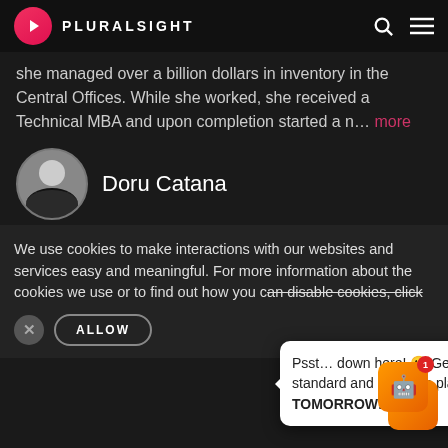PLURALSIGHT
she managed over a billion dollars in inventory in the Central Offices. While she worked, she received a Technical MBA and upon completion started a n... more
Doru Catana
Audacious Leap, the digital marketing agency I founded has
We use cookies to make interactions with our websites and services easy and meaningful. For more information about the cookies we use or to find out how you can disable cookies, click here.
Psst... down here! 🤫 Get 33% off our standard and premium plans! ENDS TOMORROW!